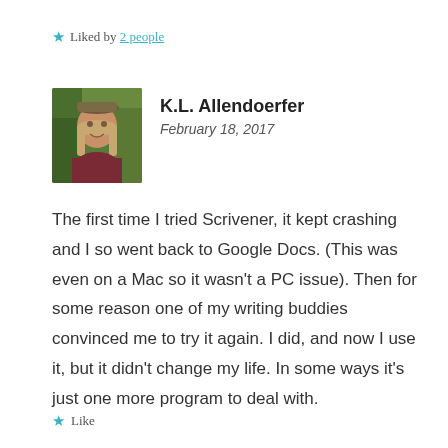★ Liked by 2 people
[Figure (photo): Profile photo of K.L. Allendoerfer, a person wearing a cap outdoors with green foliage in background]
K.L. Allendoerfer
February 18, 2017
The first time I tried Scrivener, it kept crashing and I so went back to Google Docs. (This was even on a Mac so it wasn't a PC issue). Then for some reason one of my writing buddies convinced me to try it again. I did, and now I use it, but it didn't change my life. In some ways it's just one more program to deal with.
★ Like